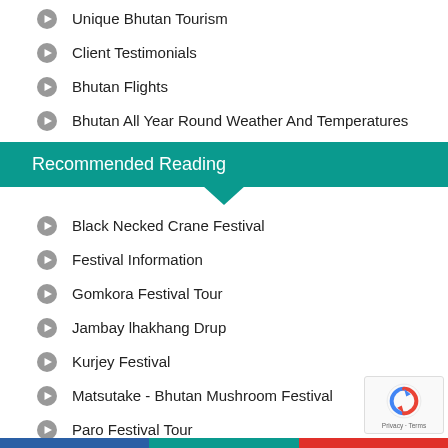Unique Bhutan Tourism
Client Testimonials
Bhutan Flights
Bhutan All Year Round Weather And Temperatures
Recommended Reading
Black Necked Crane Festival
Festival Information
Gomkora Festival Tour
Jambay lhakhang Drup
Kurjey Festival
Matsutake - Bhutan Mushroom Festival
Paro Festival Tour
Popular Local Festivals